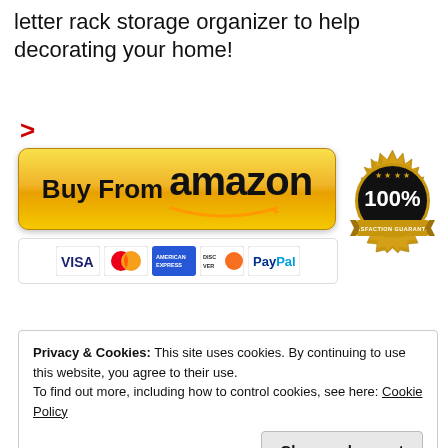letter rack storage organizer to help decorating your home!
>
[Figure (infographic): Buy From Amazon button with payment icons (VISA, MasterCard, American Express, Discover, PayPal) and a 100% Satisfaction Guaranteed gold badge]
Privacy & Cookies: This site uses cookies. By continuing to use this website, you agree to their use.
To find out more, including how to control cookies, see here: Cookie Policy
Close and accept